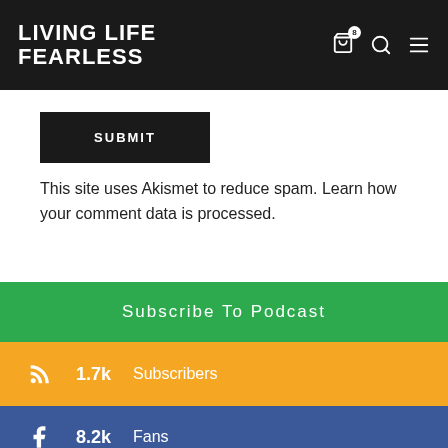LIVING LIFE FEARLESS
SUBMIT
This site uses Akismet to reduce spam. Learn how your comment data is processed.
Subscribe To Podcast
1.7k Subscribers
8.2k Fans
2.7k Followers